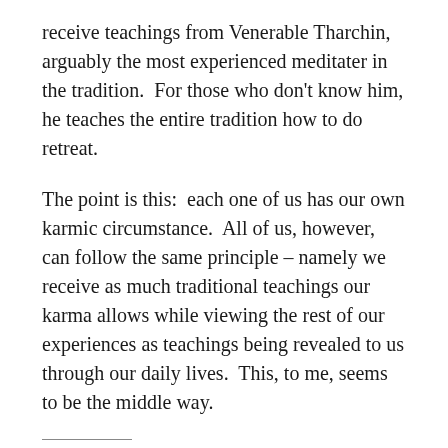receive teachings from Venerable Tharchin, arguably the most experienced meditater in the tradition.  For those who don't know him, he teaches the entire tradition how to do retreat.
The point is this:  each one of us has our own karmic circumstance.  All of us, however, can follow the same principle – namely we receive as much traditional teachings our karma allows while viewing the rest of our experiences as teachings being revealed to us through our daily lives.  This, to me, seems to be the middle way.
Share this: